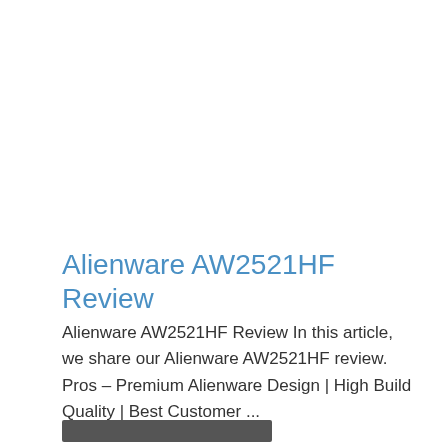Alienware AW2521HF Review
Alienware AW2521HF Review In this article, we share our Alienware AW2521HF review.   Pros – Premium Alienware Design | High Build Quality | Best Customer ...
[Figure (other): Gray rectangular button/bar at the bottom of the card]